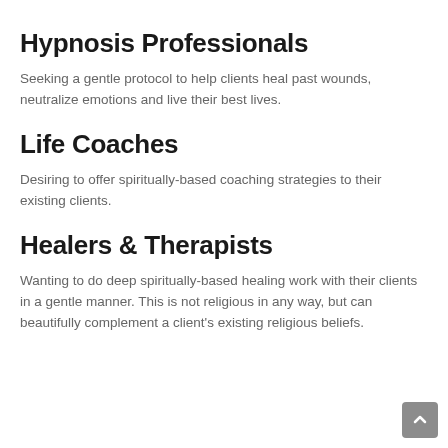Hypnosis Professionals
Seeking a gentle protocol to help clients heal past wounds, neutralize emotions and live their best lives.
Life Coaches
Desiring to offer spiritually-based coaching strategies to their existing clients.
Healers & Therapists
Wanting to do deep spiritually-based healing work with their clients in a gentle manner. This is not religious in any way, but can beautifully complement a client's existing religious beliefs.